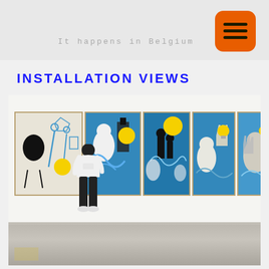It happens in Belgium
INSTALLATION VIEWS
[Figure (photo): Gallery installation view showing a person in white t-shirt and black pants standing in front of five large artworks on a white gallery wall. The artworks feature blue, yellow, black and white colors with figurative and abstract imagery.]